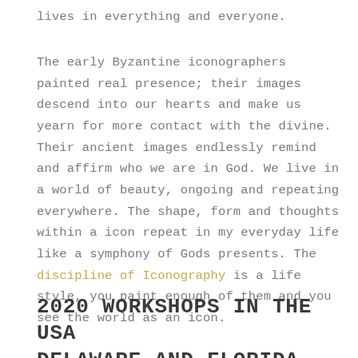lives in everything and everyone.
The early Byzantine iconographers painted real presence; their images descend into our hearts and make us yearn for more contact with the divine. Their ancient images endlessly remind and affirm who we are in God. We live in a world of beauty, ongoing and repeating everywhere. The shape, form and thoughts within a icon repeat in my everyday life like a symphony of Gods presents. The discipline of Iconography is a life style, you paint enough of them and you see the world as an icon.
2020 WORKSHOPS IN THE USA DELAWARE AND FLORIDA